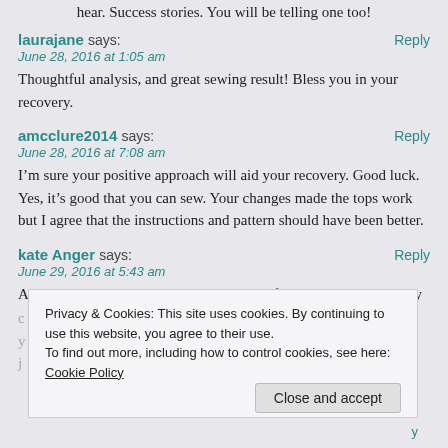hear. Success stories. You will be telling one too!
laurajane says:
June 28, 2016 at 1:05 am
Thoughtful analysis, and great sewing result! Bless you in your recovery.
amcclure2014 says:
June 28, 2016 at 7:08 am
I’m sure your positive approach will aid your recovery. Good luck. Yes, it’s good that you can sew. Your changes made the tops work but I agree that the instructions and pattern should have been better.
kate Anger says:
June 29, 2016 at 5:43 am
As you know, I’m NOT a seamstress yet I find your posts strangely
Privacy & Cookies: This site uses cookies. By continuing to use this website, you agree to their use.
To find out more, including how to control cookies, see here: Cookie Policy
Close and accept